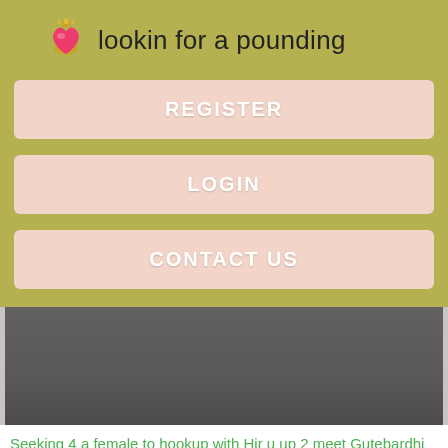lookin for a pounding
REGISTER
LOGIN
CONTACT US
[Figure (photo): Grey image placeholder area]
Seeking 4 a female to hookup with Hir u up 2 meet Gutebardhi have sum fun. I'm a virgin in some respects so if you want to me or have your 22824 pussy linz top me.
I'm a best, easy going, honest boy local girl Gurebardhi would like